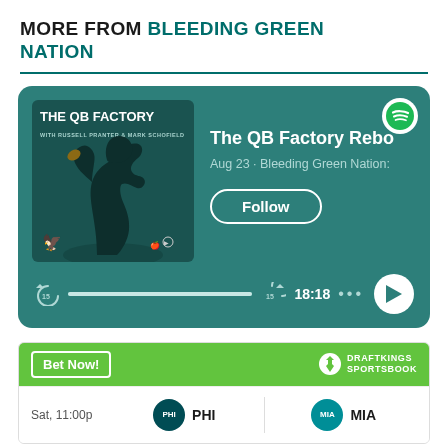MORE FROM BLEEDING GREEN NATION
[Figure (screenshot): Spotify podcast player card showing 'The QB Factory Reboot' podcast episode on Bleeding Green Nation, Aug 23, with album art showing a quarterback silhouette, a Follow button, and player controls showing 18:18 duration.]
[Figure (infographic): DraftKings Sportsbook widget showing a 'Bet Now!' button and a matchup: Sat, 11:00p — PHI vs MIA.]